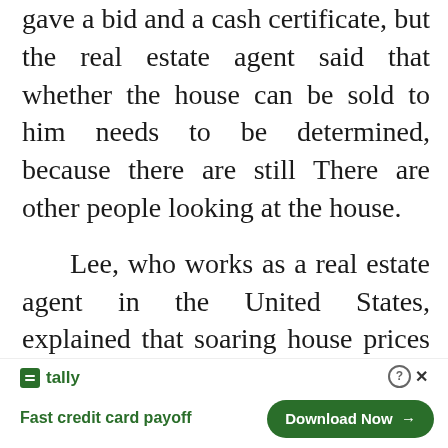gave a bid and a cash certificate, but the real estate agent said that whether the house can be sold to him needs to be determined, because there are still There are other people looking at the house.
Lee, who works as a real estate agent in the United States, explained that soaring house prices and "hard to find a house" are not in conflict.
In fact, the main reason for the rise in U.S. house prices is the dwindling number of housing supply, which is related to [Close X] ack of new [Tally ad] [Download Now →] crown epide